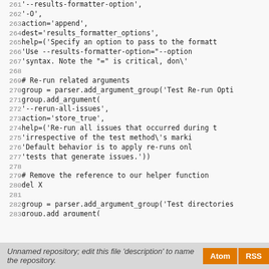[Figure (screenshot): Source code viewer showing Python code lines 261-289 with line numbers on left and code on right, on a light gray background]
Unnamed repository; edit this file 'description' to name the repository.
Atom  RSS